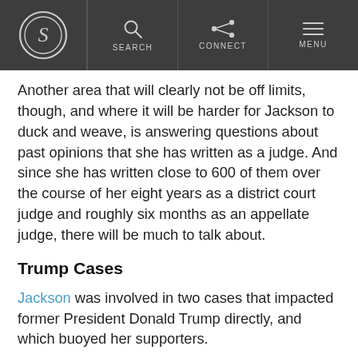S [logo] | SEARCH | CONNECT | MENU
Another area that will clearly not be off limits, though, and where it will be harder for Jackson to duck and weave, is answering questions about past opinions that she has written as a judge. And since she has written close to 600 of them over the course of her eight years as a district court judge and roughly six months as an appellate judge, there will be much to talk about.
Trump Cases
Jackson was involved in two cases that impacted former President Donald Trump directly, and which buoyed her supporters.